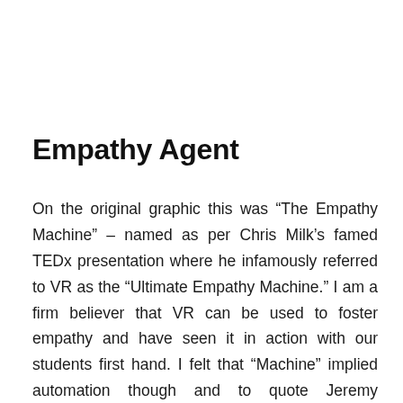Empathy Agent
On the original graphic this was “The Empathy Machine” – named as per Chris Milk’s famed TEDx presentation where he infamously referred to VR as the “Ultimate Empathy Machine.” I am a firm believer that VR can be used to foster empathy and have seen it in action with our students first hand. I felt that “Machine” implied automation though and to quote Jeremy Bailenson from Stanford’s Virtual Human Interaction Lab – “There is no medium that magically produces empathy.” As such, I switched to “Empathy Agent” last